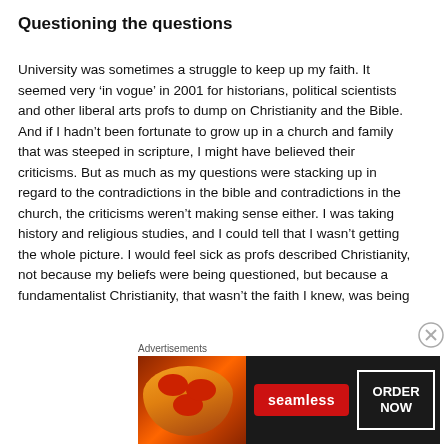Questioning the questions
University was sometimes a struggle to keep up my faith. It seemed very ‘in vogue’ in 2001 for historians, political scientists and other liberal arts profs to dump on Christianity and the Bible. And if I hadn’t been fortunate to grow up in a church and family that was steeped in scripture, I might have believed their criticisms. But as much as my questions were stacking up in regard to the contradictions in the bible and contradictions in the church, the criticisms weren’t making sense either. I was taking history and religious studies, and I could tell that I wasn’t getting the whole picture. I would feel sick as profs described Christianity, not because my beliefs were being questioned, but because a fundamentalist Christianity, that wasn’t the faith I knew, was being
Advertisements
[Figure (other): Seamless food delivery advertisement banner with pizza image on the left, Seamless logo in the center, and ORDER NOW button on the right, on a dark background.]